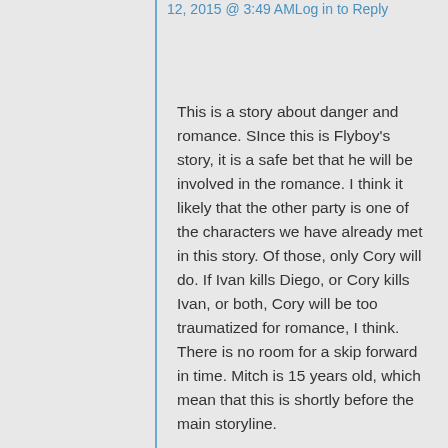12, 2015 @ 3:49 AMLog in to Reply
This is a story about danger and romance. SInce this is Flyboy's story, it is a safe bet that he will be involved in the romance. I think it likely that the other party is one of the characters we have already met in this story. Of those, only Cory will do. If Ivan kills Diego, or Cory kills Ivan, or both, Cory will be too traumatized for romance, I think. There is no room for a skip forward in time. Mitch is 15 years old, which mean that this is shortly before the main storyline.